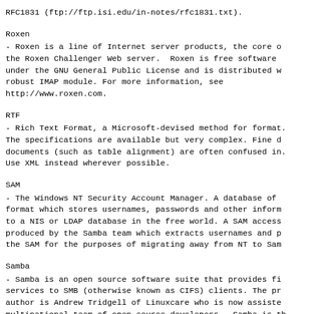RFC1831 (ftp://ftp.isi.edu/in-notes/rfc1831.txt).
Roxen
- Roxen is a line of Internet server products, the core of which is the Roxen Challenger Web server.  Roxen is free software under the GNU General Public License and is distributed with a robust IMAP module. For more information, see http://www.roxen.com.
RTF
- Rich Text Format, a Microsoft-devised method for formatting. The specifications are available but very complex. Fine details of documents (such as table alignment) are often confused in. Use XML instead wherever possible.
SAM
- The Windows NT Security Account Manager. A database of format which stores usernames, passwords and other information to a NIS or LDAP database in the free world. A SAM access produced by the Samba team which extracts usernames and passwords from the SAM for the purposes of migrating away from NT to Samba.
Samba
- Samba is an open source software suite that provides file and print services to SMB (otherwise known as CIFS) clients. The primary author is Andrew Tridgell of Linuxcare who is now assisted by a multinational team of open source developers.  Samba is the